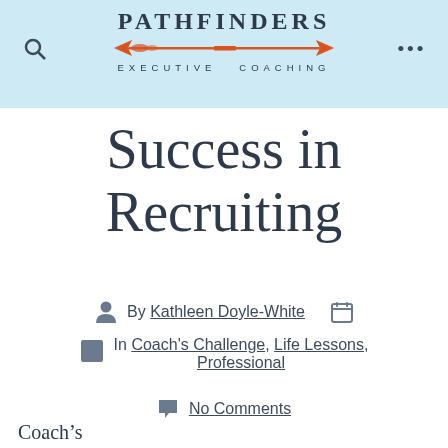PATHFINDERS EXECUTIVE COACHING
Success in Recruiting
By Kathleen Doyle-White
In Coach's Challenge, Life Lessons, Professional
No Comments